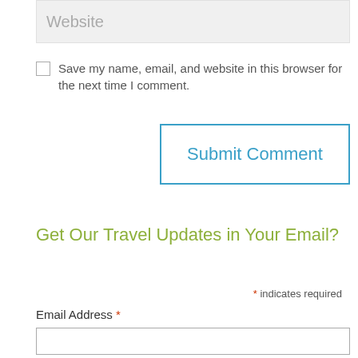Website
Save my name, email, and website in this browser for the next time I comment.
Submit Comment
Get Our Travel Updates in Your Email?
* indicates required
Email Address *